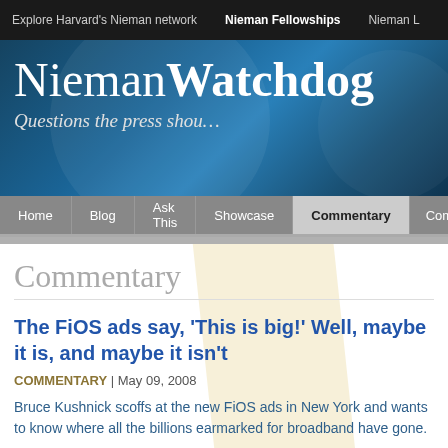Explore Harvard's Nieman network | Nieman Fellowships | Nieman L
[Figure (screenshot): NiemanWatchdog banner with blue abstract background. Site title reads 'NiemanWatchdog' and tagline 'Questions the press shou...']
Home | Blog | Ask This | Showcase | Commentary | Comments
Commentary
The FiOS ads say, 'This is big!' Well, maybe it is, and maybe it isn't
COMMENTARY | May 09, 2008
Bruce Kushnick scoffs at the new FiOS ads in New York and wants to know where all the billions earmarked for broadband have gone.
By Bruce Kushnick
bruce@newnetworks.com